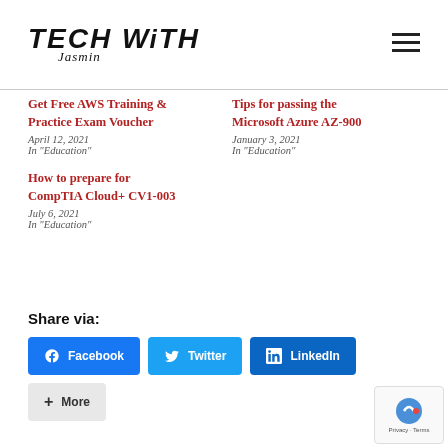[Figure (logo): Tech With Jasmin logo with bold italic text and cursive signature]
Get Free AWS Training & Practice Exam Voucher
April 12, 2021
In "Education"
Tips for passing the Microsoft Azure AZ-900
January 3, 2021
In "Education"
How to prepare for CompTIA Cloud+ CV1-003
July 6, 2021
In "Education"
Share via:
[Figure (other): Social share buttons: Facebook, Twitter, LinkedIn, More]